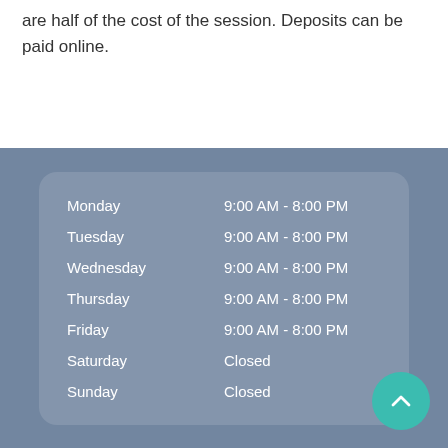are half of the cost of the session. Deposits can be paid online.
| Day | Hours |
| --- | --- |
| Monday | 9:00 AM - 8:00 PM |
| Tuesday | 9:00 AM - 8:00 PM |
| Wednesday | 9:00 AM - 8:00 PM |
| Thursday | 9:00 AM - 8:00 PM |
| Friday | 9:00 AM - 8:00 PM |
| Saturday | Closed |
| Sunday | Closed |